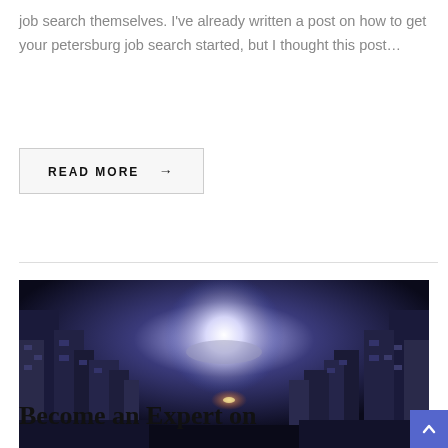job search themselves. I've already written a post on how to get your petersburg job search started, but I thought this post…
READ MORE →
[Figure (illustration): A dark science fiction digital artwork showing massive blocky structures on either side with a glowing planet or moon visible in the background against a dark blue/purple sky with lens flare effects.]
ALARM WATCHES, BLOG
Become an Expert on